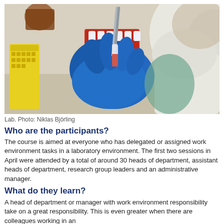[Figure (photo): Laboratory scientist wearing blue gloves using a pipette or tweezers to handle a test tube with red liquid, with red test tube racks and yellow pipette tip box in background. Person wearing white lab coat.]
Lab. Photo: Niklas Björling
Who are the participants?
The course is aimed at everyone who has delegated or assigned work environment tasks in a laboratory environment. The first two sessions in April were attended by a total of around 30 heads of department, assistant heads of department, research group leaders and an administrative manager.
What do they learn?
A head of department or manager with work environment responsibility take on a great responsibility. This is even greater when there are colleagues working in an